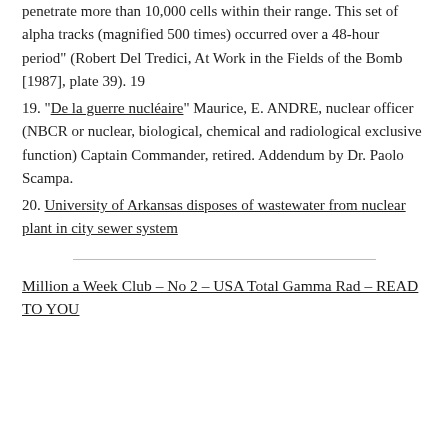penetrate more than 10,000 cells within their range. This set of alpha tracks (magnified 500 times) occurred over a 48-hour period" (Robert Del Tredici, At Work in the Fields of the Bomb [1987], plate 39). 19
19. “De la guerre nucléaire” Maurice, E. ANDRE, nuclear officer (NBCR or nuclear, biological, chemical and radiological exclusive function) Captain Commander, retired. Addendum by Dr. Paolo Scampa.
20. University of Arkansas disposes of wastewater from nuclear plant in city sewer system
Million a Week Club – No 2 – USA Total Gamma Rad – READ TO YOU